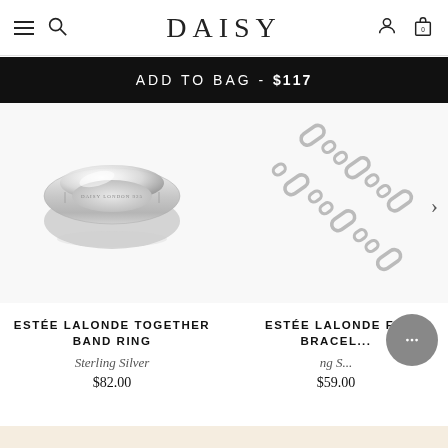DAISY
ADD TO BAG - $117
[Figure (photo): Silver dome band ring engraved DAISY LONDON 925 on the inside, polished sterling silver]
ESTÉE LALONDE TOGETHER BAND RING
Sterling Silver
$82.00
[Figure (photo): Silver figaro chain bracelet, partially visible on right side of screen]
ESTÉE LALONDE F... BRACEL...
ng S...
$59.00